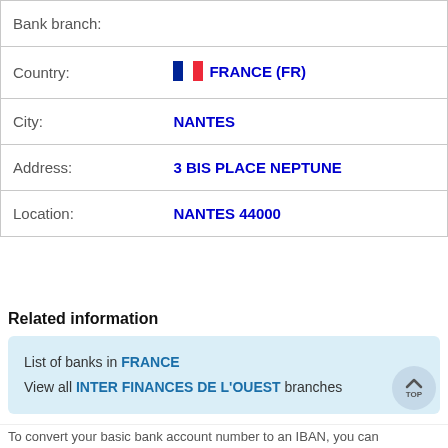| Field | Value |
| --- | --- |
| Bank branch: |  |
| Country: | FRANCE (FR) |
| City: | NANTES |
| Address: | 3 BIS PLACE NEPTUNE |
| Location: | NANTES 44000 |
Related information
List of banks in FRANCE
View all INTER FINANCES DE L'OUEST branches
To convert your basic bank account number to an IBAN, you can